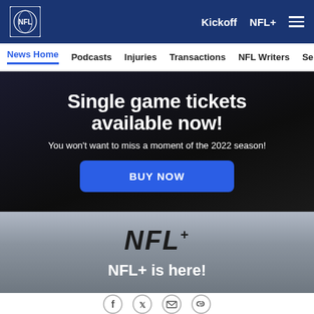NFL - Kickoff  NFL+  [menu]
News Home  Podcasts  Injuries  Transactions  NFL Writers  Se
Single game tickets available now!
You won't want to miss a moment of the 2022 season!
BUY NOW
[Figure (logo): NFL+ logo on gradient gray background]
NFL+ is here!
Social share icons: Facebook, Twitter, Email, Link